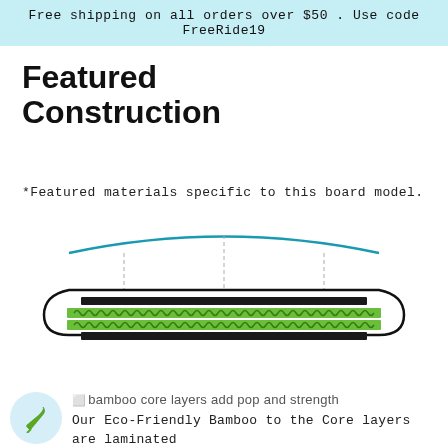Free shipping on all orders over $50 . Use code FreeRide19
Featured Construction
*Featured materials specific to this board model.
[Figure (engineering-diagram): Cross-section diagram of a snowboard showing layered construction: top profile curve with teal/blue edge, outer shell outline, black carbon/fiberglass strips, and two green dotted bamboo core layers in the middle, with dashed vertical reference lines.]
[Figure (illustration): Small icon image placeholder for bamboo core layers]
bamboo core layers add pop and strength
Our Eco-Friendly Bamboo to the Core layers are laminated vertically and horizontally, creating the ultimate utilization of